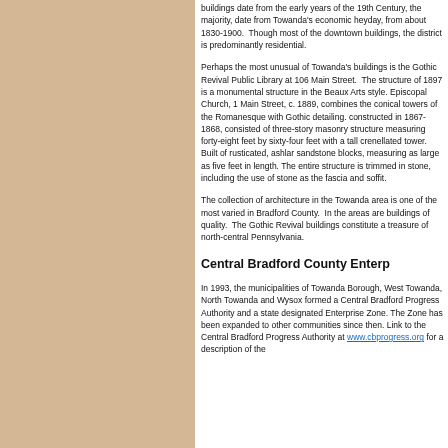buildings date from the early years of the 19th Century, the majority, date from Towanda's economic heyday, from about 1830-1900. Though most of the downtown buildings, the district is predominantly residential.
Perhaps the most unusual of Towanda's buildings is the Gothic Revival Public Library at 106 Main Street. The structure of 1897 is a monumental structure in the Beaux Arts style. Episcopal Church, 1 Main Street, c. 1889, combines the conical towers of the Romanesque with Gothic detailing. constructed in 1867-1868, consisted of three-story masonry structure measuring forty-eight feet by sixty-four feet with a tall crenellated tower. Built of rusticated, ashlar sandstone blocks, measuring as large as five feet in length. The entire structure is trimmed in stone, including the use of stone as the fascia and soffit.
The collection of architecture in the Towanda area is one of the most varied in Bradford County. In the area are buildings of quality. The Gothic Revival buildings constitute a treasure of north-central Pennsylvania.
Central Bradford County Enterp
In 1993, the municipalities of Towanda Borough, West Towanda, North Towanda and Wysoc formed the Central Bradford Progress Authority and a state designated Enterprise Zone. The Zone has been expanded to other communities since then. Link to the Central Bradford Progress Authority at www.cbprogress.org for a description of the